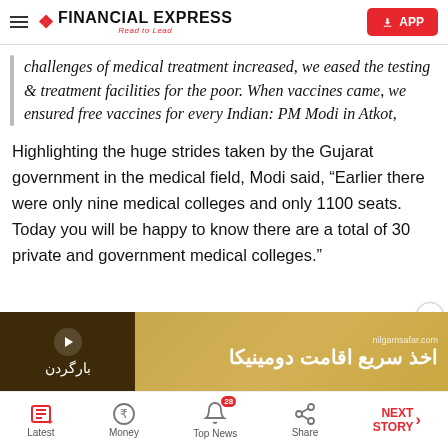Financial Express - Read to Lead
challenges of medical treatment increased, we eased the testing & treatment facilities for the poor. When vaccines came, we ensured free vaccines for every Indian: PM Modi in Atkot,
Highlighting the huge strides taken by the Gujarat government in the medical field, Modi said, "Earlier there were only nine medical colleges and only 1100 seats. Today you will be happy to know there are a total of 30 private and government medical colleges."
[Figure (other): Advertisement banner in Arabic/Persian with gold and dark brown background, text reads 'بارگردن' and 'اخذ سریع اقامت دومینیکا' with nilgamsafar.com url]
Latest | Money | Top News (28) | Share | NEXT STORY